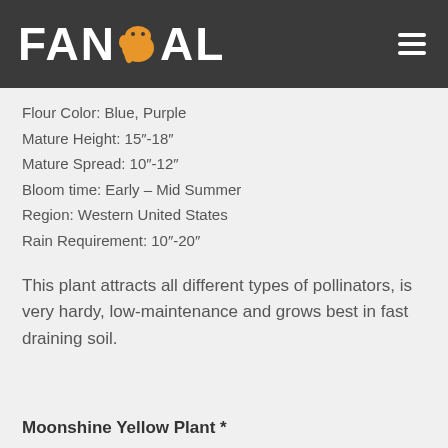FANIMAL
Flour Color: Blue, Purple
Mature Height: 15"-18"
Mature Spread: 10"-12"
Bloom time: Early – Mid Summer
Region: Western United States
Rain Requirement: 10"-20"
This plant attracts all different types of pollinators, is very hardy, low-maintenance and grows best in fast draining soil.
Moonshine Yellow Plant *